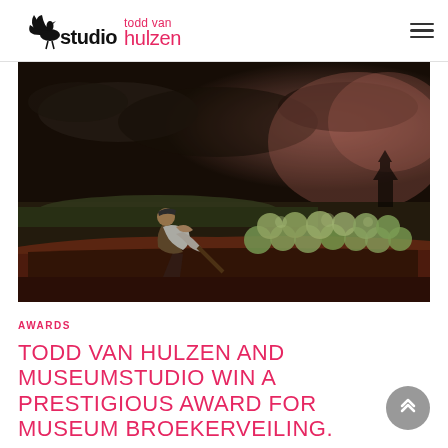studio todd van hulzen
[Figure (photo): A painterly/illustrated scene showing a figure hunched over rowing or working in a wooden boat, with colorful cabbages or produce stacked in the boat. Dark dramatic sky with a church silhouette in the background. Dutch old-master painting style.]
AWARDS
TODD VAN HULZEN AND MUSEUMSTUDIO WIN A PRESTIGIOUS AWARD FOR MUSEUM BROEKERVEILING.